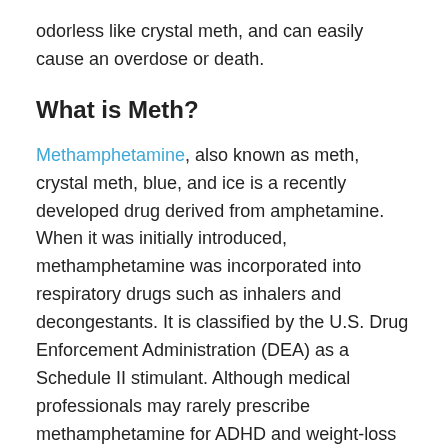odorless like crystal meth, and can easily cause an overdose or death.
What is Meth?
Methamphetamine, also known as meth, crystal meth, blue, and ice is a recently developed drug derived from amphetamine. When it was initially introduced, methamphetamine was incorporated into respiratory drugs such as inhalers and decongestants. It is classified by the U.S. Drug Enforcement Administration (DEA) as a Schedule II stimulant. Although medical professionals may rarely prescribe methamphetamine for ADHD and weight-loss treatments, it can only be prescribed legally with a non-refillable prescription. Due to its extremely addictive nature, doctors tend to avoid prescribing meth, and will choose alternatives that are safer for the patient.